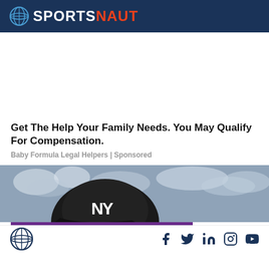SPORTSNAUT
[Figure (other): White advertisement space area]
Get The Help Your Family Needs. You May Qualify For Compensation.
Baby Formula Legal Helpers | Sponsored
[Figure (photo): New York Yankees baseball player wearing a dark helmet with NY logo, crowd blurred in background]
Sportsnaut logo and social media icons: Facebook, Twitter, LinkedIn, Instagram, YouTube